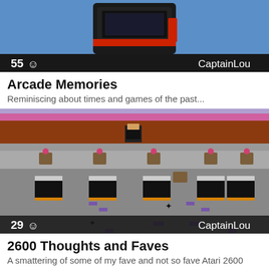[Figure (photo): Partial view of an arcade cabinet with black and red design against blue background, showing count 55 and author CaptainLou]
Arcade Memories
Reminiscing about times and games of the past...
[Figure (screenshot): Atari 2600 game screenshot showing a platformer with pixel character, flower pots, and black obstacles on gray background, showing count 29 and author CaptainLou]
2600 Thoughts and Faves
A smattering of some of my fave and not so fave Atari 2600 games.
[Figure (photo): Partial dark image at bottom of page]